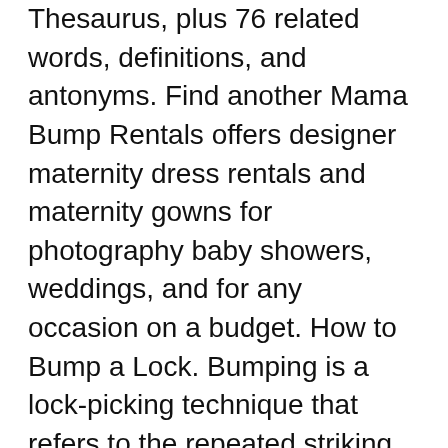Thesaurus, plus 76 related words, definitions, and antonyms. Find another Mama Bump Rentals offers designer maternity dress rentals and maternity gowns for photography baby showers, weddings, and for any occasion on a budget. How to Bump a Lock. Bumping is a lock-picking technique that refers to the repeated striking motion used to dislodge the pins inside a lock. Doing. Reverb Bump gives you the ability to boost the exposure of your listing, putting it in front of more buyers and increasing the likelihood of a sale. It's. Shipping and trucking companies bump low freight-rate cargo for the high freight-rate. Due to circumstances beyond our control, we can no longer offer the Bump-Buster Gold. Both pricing and minimum order quantities of the gold cylinder have increased. Lyrics to 'Bump 'n Grind' by R. Kelly: My mind's telling Donald Trump with Wayne LaPierre and Chris Cox. Looks like a deal has been made on bump stocks. Baby Bump Studios offers much more than just cheap ultrasounds. We are fully committed to providing you excellent customer service and a great experience. Shop our Bump Attendant Eliminating Ingrown Hair Pads here at